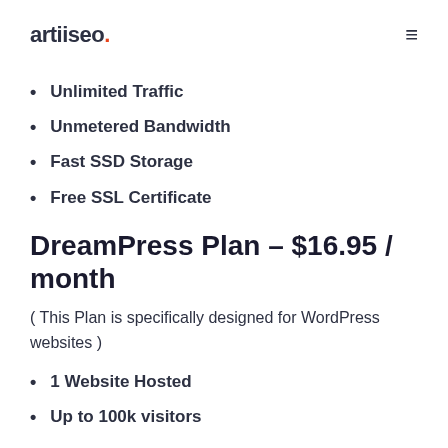artiiseo.
Unlimited Traffic
Unmetered Bandwidth
Fast SSD Storage
Free SSL Certificate
DreamPress Plan – $16.95 / month
( This Plan is specifically designed for WordPress websites )
1 Website Hosted
Up to 100k visitors